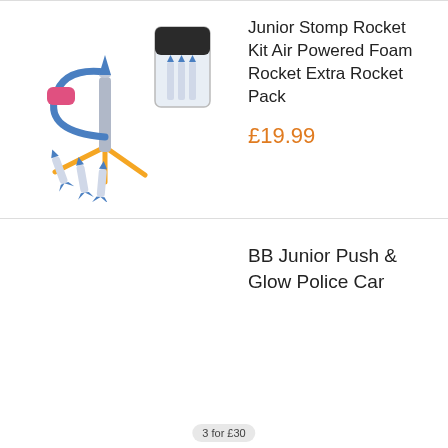[Figure (photo): Junior Stomp Rocket Kit product photo showing a foam rocket launcher with blue tube, pink foot pump, orange tripod stand, foam rockets, and a separate clear bag with extra foam rockets]
Junior Stomp Rocket Kit Air Powered Foam Rocket Extra Rocket Pack
£19.99
BB Junior Push & Glow Police Car
3 for £30